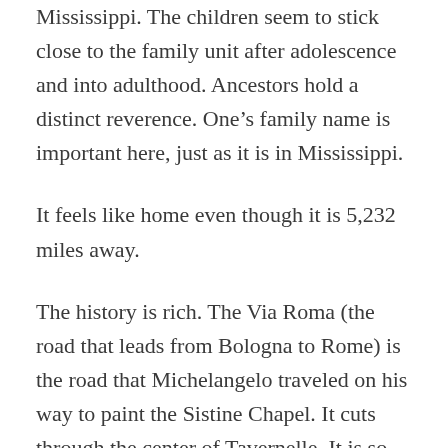Mississippi. The children seem to stick close to the family unit after adolescence and into adulthood. Ancestors hold a distinct reverence. One's family name is important here, just as it is in Mississippi.
It feels like home even though it is 5,232 miles away.
The history is rich. The Via Roma (the road that leads from Bologna to Rome) is the road that Michelangelo traveled on his way to paint the Sistine Chapel. It cuts through the center of Tavernelle. It is so old and storied that